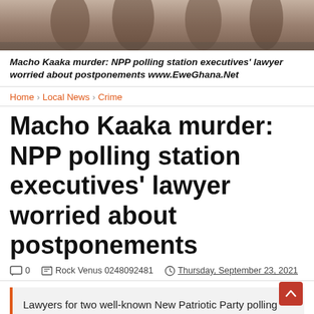[Figure (photo): Partial view of people, dark clothing, outdoor scene — cropped photograph strip at top of page]
Macho Kaaka murder: NPP polling station executives' lawyer worried about postponements www.EweGhana.Net
Home › Local News › Crime
Macho Kaaka murder: NPP polling station executives' lawyer worried about postponements
0   Rock Venus 0248092481   Thursday, September 23, 2021
Lawyers for two well-known New Patriotic Party polling station leaders on trial for the murder of social activist Kaaka Macho have expressed concern
Details of persons killed, how soldiers shot into the crowd